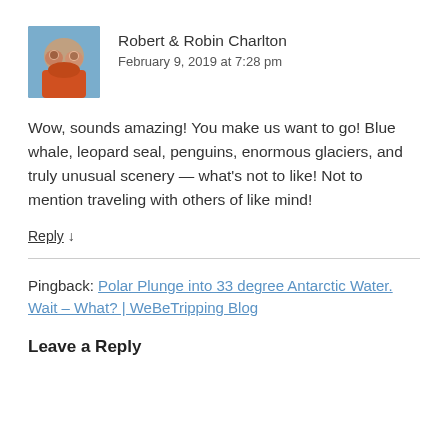[Figure (photo): Small square avatar photo of two people (Robert & Robin Charlton), appearing to be a couple, with a blue/teal background.]
Robert & Robin Charlton
February 9, 2019 at 7:28 pm
Wow, sounds amazing! You make us want to go! Blue whale, leopard seal, penguins, enormous glaciers, and truly unusual scenery — what's not to like! Not to mention traveling with others of like mind!
Reply ↓
Pingback: Polar Plunge into 33 degree Antarctic Water. Wait – What? | WeBeTripping Blog
Leave a Reply